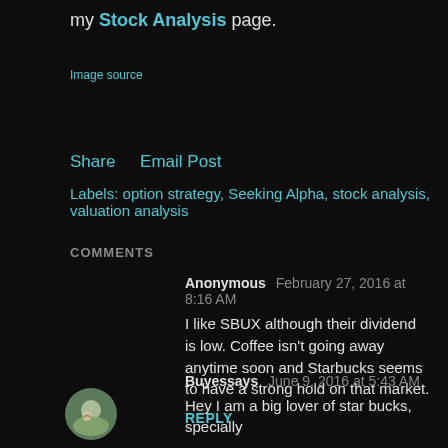my Stock Analysis page.
Image source
Share   Email Post
Labels: option strategy, Seeking Alpha, stock analysis, valuation analysis
COMMENTS
Anonymous   February 27, 2016 at 8:16 AM
I like SBUX although their dividend is low. Coffee isn't going away anytime soon and Starbucks seems to have a strong hold on that market.
REPLY
Buyessays   June 9, 2016 at 5:43 AM
Hey I am a big lover of star bucks, specially